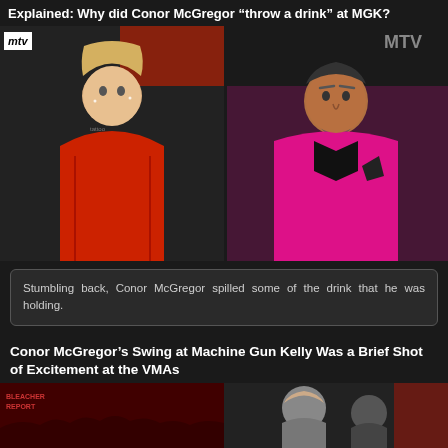Explained: Why did Conor McGregor “throw a drink” at MGK?
[Figure (photo): Side-by-side photos of Machine Gun Kelly (left) in red outfit at MTV VMAs and Conor McGregor (right) in pink suit at MTV VMAs]
Stumbling back, Conor McGregor spilled some of the drink that he was holding.
Conor McGregor’s Swing at Machine Gun Kelly Was a Brief Shot of Excitement at the VMAs
[Figure (photo): Bottom partial image showing people at the VMAs event, red-lit venue on left, figures visible on right]